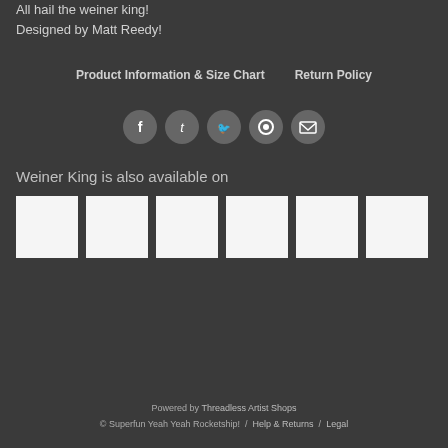All hail the weiner king!
Designed by Matt Reedy!
Product Information & Size Chart    Return Policy
[Figure (other): Row of five social media sharing icons (Facebook, Tumblr, Twitter, Pinterest, Email) as circular grey buttons]
Weiner King is also available on
[Figure (other): Six white square product thumbnail images in a horizontal row]
Powered by Threadless Artist Shops
© Superfun Yeah Yeah Rocketship!  /  Help & Returns  /  Legal